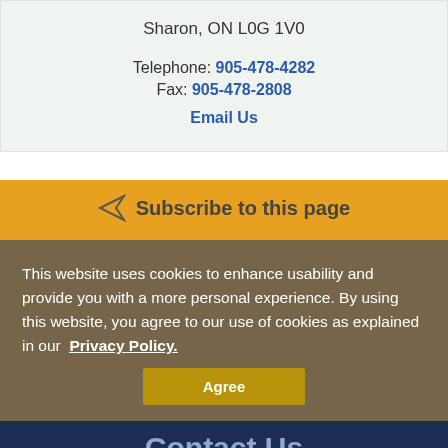Sharon, ON L0G 1V0
Telephone: 905-478-4282
Fax: 905-478-2808
Email Us
Subscribe to this page
This website uses cookies to enhance usability and provide you with a more personal experience. By using this website, you agree to our use of cookies as explained in our Privacy Policy.
Agree
Contact Us
Our Customer Service Team is here to help!